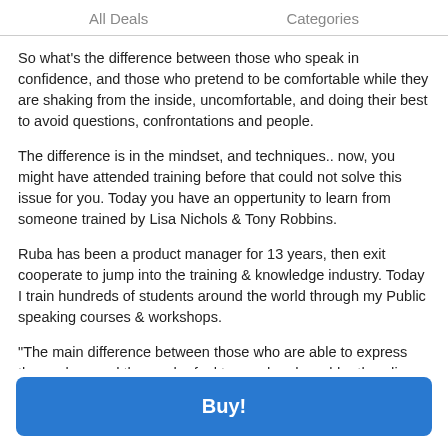All Deals    Categories
So what's the difference between those who speak in confidence, and those who pretend to be comfortable while they are shaking from the inside, uncomfortable, and doing their best to avoid questions, confrontations and people.
The difference is in the mindset, and techniques.. now, you might have attended training before that could not solve this issue for you. Today you have an oppertunity to learn from someone trained by Lisa Nichols & Tony Robbins.
Ruba has been a product manager for 13 years, then exit cooperate to jump into the training & knowledge industry. Today I train hundreds of students around the world through my Public speaking courses & workshops.
"The main difference between those who are able to express themselves and those who feel trapped and would rather die
Buy!